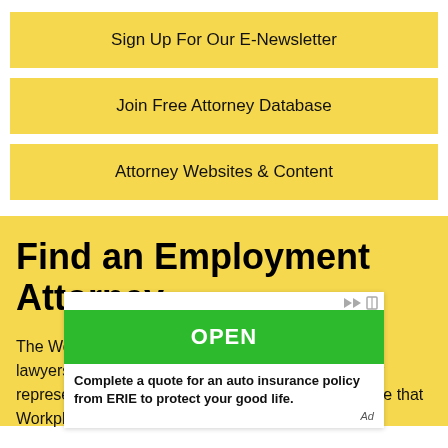Sign Up For Our E-Newsletter
Join Free Attorney Database
Attorney Websites & Content
Find an Employment Attorney
The Workplace Fairness Attorney Directory features lawyers from across the United States who primarily represent workers in employment cases. Please note that Workplace Fairness
[Figure (other): Advertisement overlay: green OPEN button with ERIE auto insurance ad text. Skip icons top right. 'Ad' label bottom right.]